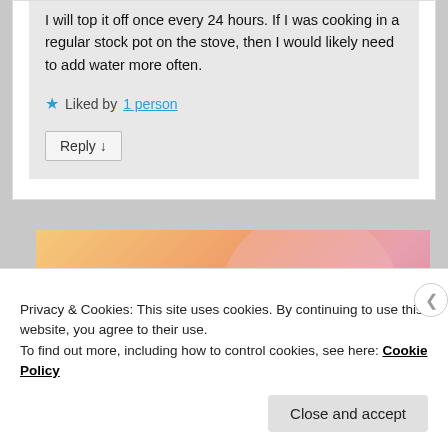I will top it off once every 24 hours. If I was cooking in a regular stock pot on the stove, then I would likely need to add water more often.
Liked by 1 person
Reply ↓
[Figure (illustration): WordPress promotional banner with text 'WordPress in the back.' on a warm gradient background with peach, orange and pink circular shapes.]
Privacy & Cookies: This site uses cookies. By continuing to use this website, you agree to their use. To find out more, including how to control cookies, see here: Cookie Policy
Close and accept